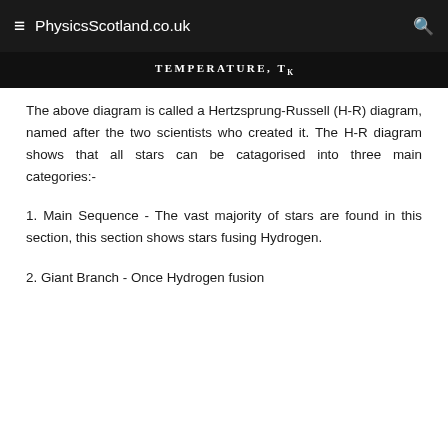≡ PhysicsScotland.co.uk 🔍
[Figure (other): Bottom portion of a Hertzsprung-Russell diagram showing x-axis label: TEMPERATURE, T_K]
The above diagram is called a Hertzsprung-Russell (H-R) diagram, named after the two scientists who created it. The H-R diagram shows that all stars can be catagorised into three main categories:-
1. Main Sequence - The vast majority of stars are found in this section, this section shows stars fusing Hydrogen.
2. Giant Branch - Once Hydrogen fusion